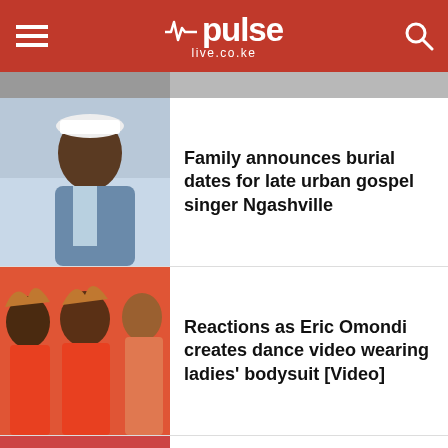pulse live.co.ke
Family announces burial dates for late urban gospel singer Ngashville
Reactions as Eric Omondi creates dance video wearing ladies' bodysuit [Video]
Diamond quashes claim of fallout with Rayvanny in birthday message
Obinna threatens to take possessions he bought for